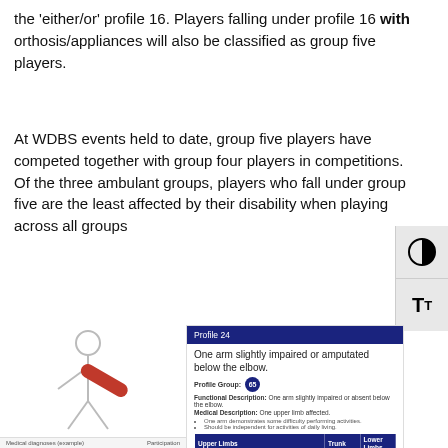the 'either/or' profile 16. Players falling under profile 16 with orthosis/appliances will also be classified as group five players.
At WDBS events held to date, group five players have competed together with group four players in competitions. Of the three ambulant groups, players who fall under group five are the least affected by their disability when playing across all groups
[Figure (illustration): Stick figure of a person with a red diagonal bar across the body, representing a player profile. Below: Medical diagnoses (example) and Participation labels.]
| Upper Limbs | Trunk | Lower Limbs |
| --- | --- | --- |
| Moderate to severe weakness, spasticity or deformity of one limb | Not affected | Not affected |